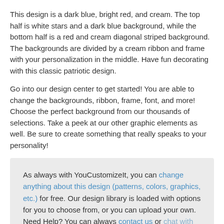This design is a dark blue, bright red, and cream. The top half is white stars and a dark blue background, while the bottom half is a red and cream diagonal striped background. The backgrounds are divided by a cream ribbon and frame with your personalization in the middle. Have fun decorating with this classic patriotic design.
Go into our design center to get started! You are able to change the backgrounds, ribbon, frame, font, and more! Choose the perfect background from our thousands of selections. Take a peek at our other graphic elements as well. Be sure to create something that really speaks to your personality!
As always with YouCustomizeIt, you can change anything about this design (patterns, colors, graphics, etc.) for free. Our design library is loaded with options for you to choose from, or you can upload your own. Need Help? You can always contact us or chat with our design experts.
Product Description